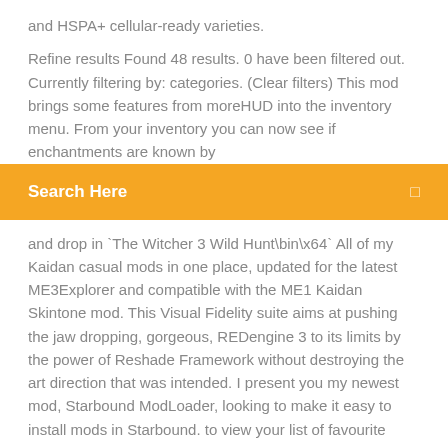and HSPA+ cellular-ready varieties.
Refine results Found 48 results. 0 have been filtered out. Currently filtering by: categories. (Clear filters) This mod brings some features from moreHUD into the inventory menu. From your inventory you can now see if enchantments are known by
Search Here
and drop in `The Witcher 3 Wild Hunt\bin\x64` All of my Kaidan casual mods in one place, updated for the latest ME3Explorer and compatible with the ME1 Kaidan Skintone mod. This Visual Fidelity suite aims at pushing the jaw dropping, gorgeous, REDengine 3 to its limits by the power of Reshade Framework without destroying the art direction that was intended. I present you my newest mod, Starbound ModLoader, looking to make it easy to install mods in Starbound. to view your list of favourite games.